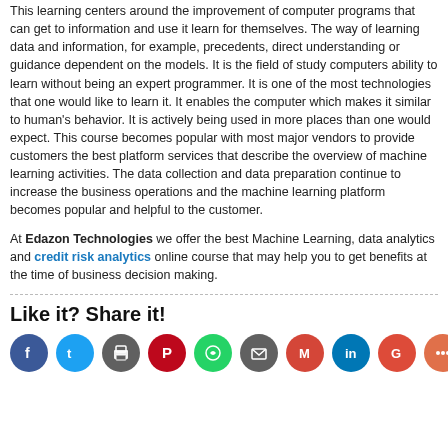This learning centers around the improvement of computer programs that can get to information and use it learn for themselves. The way of learning data and information, for example, precedents, direct understanding or guidance dependent on the models. It is the field of study computers ability to learn without being an expert programmer. It is one of the most technologies that one would like to learn it. It enables the computer which makes it similar to human's behavior. It is actively being used in more places than one would expect. This course becomes popular with most major vendors to provide customers the best platform services that describe the overview of machine learning activities. The data collection and data preparation continue to increase the business operations and the machine learning platform becomes popular and helpful to the customer.
At Edazon Technologies we offer the best Machine Learning, data analytics and credit risk analytics online course that may help you to get benefits at the time of business decision making.
Like it? Share it!